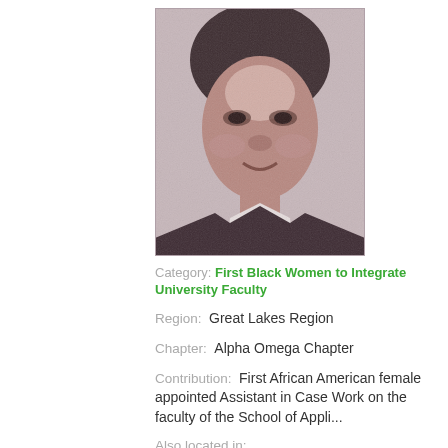[Figure (photo): Grainy black and white portrait photo of an African American woman, facing slightly to the right, wearing a dark top with a white collar visible.]
Category: First Black Women to Integrate University Faculty
Region:  Great Lakes Region
Chapter:  Alpha Omega Chapter
Contribution:  First African American female appointed Assistant in Case Work on the faculty of the School of Appli...
Also located in: